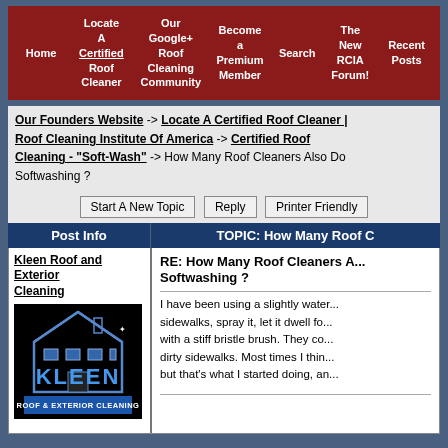Navigation menu: Home | Locate A Certified Roof Cleaner | Our Google+ Roof Cleaning Community | Become a Premium Member | Search | The New RCIA Forum! | Recent Posts
Our Founders Website -> Locate A Certified Roof Cleaner | Roof Cleaning Institute Of America -> Certified Roof Cleaning - "Soft-Wash" -> How Many Roof Cleaners Also Do Softwashing ?
Start A New Topic | Reply | Printer Friendly
| Post Info | TOPIC: How Many Roof C... |
| --- | --- |
| Kleen Roof and Exterior Cleaning [logo image] | RE: How Many Roof Cleaners Also Do Softwashing ?

I have been using a slightly water... sidewalks, spray it, let it dwell fo... with a stiff bristle brush. They co... dirty sidewalks. Most times I thin... but that's what I started doing, an... |
[Figure (logo): Kleen Roof and Exterior Cleaning company logo - blue house outline on black background with 'KLEEN' text and 'ROOF & EXTERIOR CLEANING' subtitle]